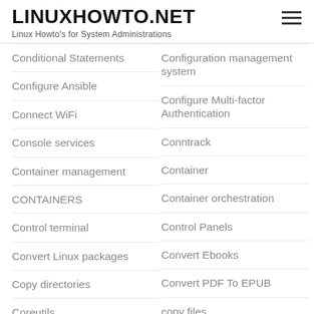LINUXHOWTO.NET — Linux Howto's for System Administrations
Conditional Statements
Configuration management system
Configure Ansible
Configure Multi-factor Authentication
Connect WiFi
Conntrack
Console services
Container
Container management
Container orchestration
CONTAINERS
Control Panels
Control terminal
Convert Ebooks
Convert Linux packages
Convert PDF To EPUB
Copy directories
copy files
Coreutils
Corona
Coronavirus
Coronavirus (COVID-19)